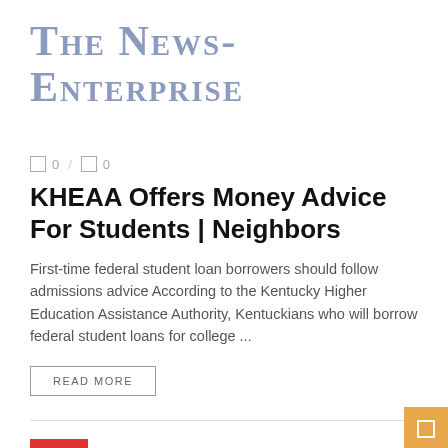The News-Enterprise
0 / 0
KHEAA Offers Money Advice For Students | Neighbors
First-time federal student loan borrowers should follow admissions advice According to the Kentucky Higher Education Assistance Authority, Kentuckians who will borrow federal student loans for college ...
READ MORE